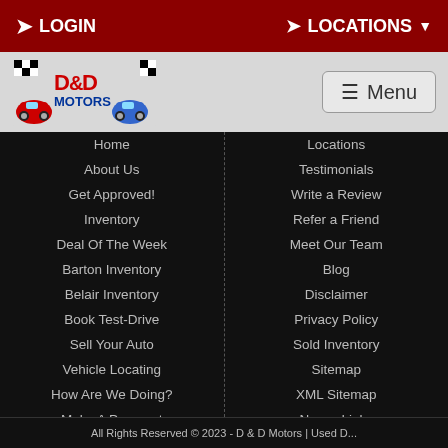LOGIN | LOCATIONS
[Figure (logo): D&D Motors logo with cartoon race cars and checkered flags]
Home
About Us
Get Approved!
Inventory
Deal Of The Week
Barton Inventory
Belair Inventory
Book Test-Drive
Sell Your Auto
Vehicle Locating
How Are We Doing?
Make A Payment
Contact Us
Locations
Testimonials
Write a Review
Refer a Friend
Meet Our Team
Blog
Disclaimer
Privacy Policy
Sold Inventory
Sitemap
XML Sitemap
Nexus Links
All Rights Reserved © 2023 - D & D Motors | Used D...